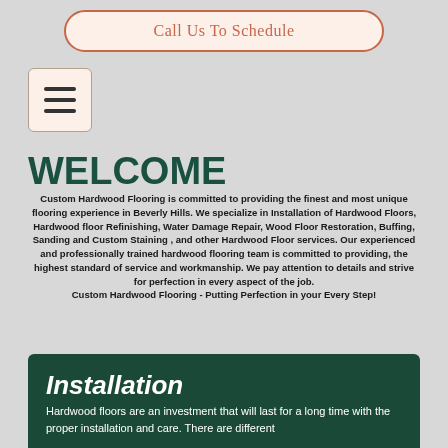Call Us To Schedule
[Figure (other): Hamburger menu icon button]
WELCOME
Custom Hardwood Flooring is committed to providing the finest and most unique flooring experience in Beverly Hills. We specialize in Installation of Hardwood Floors, Hardwood floor Refinishing, Water Damage Repair, Wood Floor Restoration, Buffing, Sanding and Custom Staining , and other Hardwood Floor services. Our experienced and professionally trained hardwood flooring team is committed to providing, the highest standard of service and workmanship. We pay attention to details and strive for perfection in every aspect of the job. Custom Hardwood Flooring - Putting Perfection in your Every Step!
Installation
Hardwood floors are an investment that will last for a long time with the proper installation and care. There are different